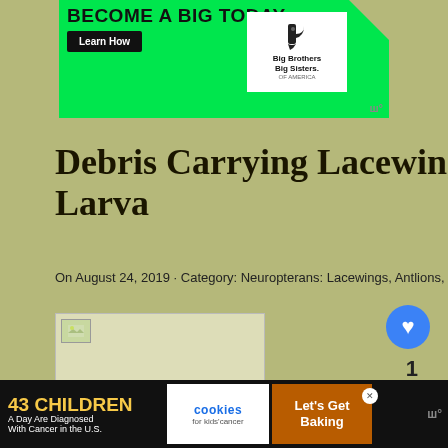[Figure (screenshot): Top banner advertisement for Big Brothers Big Sisters of America with green background, 'BECOME A BIG TODAY.' text, 'Learn How' button, and organization logo]
Debris Carrying Lacewing Larva
On August 24, 2019 · Category: Neuropterans: Lacewings, Antlions, and Owlflies · Add Comment
[Figure (photo): Small broken image placeholder for lacewing larva photo]
[Figure (screenshot): Bottom banner advertisement: 43 CHILDREN A Day Are Diagnosed With Cancer in the U.S. / cookies for kids cancer / Let's Get Baking]